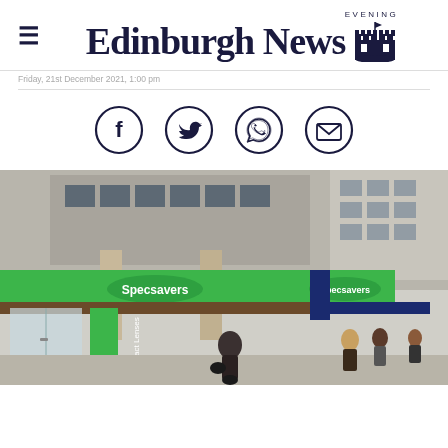Edinburgh Evening News
Friday, 21st December 2021, 1:00 pm
[Figure (infographic): Social sharing icons: Facebook, Twitter, WhatsApp, Email — each in a dark navy circle outline]
[Figure (photo): Street-level photograph of a Specsavers optician store front with green signage, glass doors, and pedestrians walking past on a city street. Stone and concrete building facade visible above.]